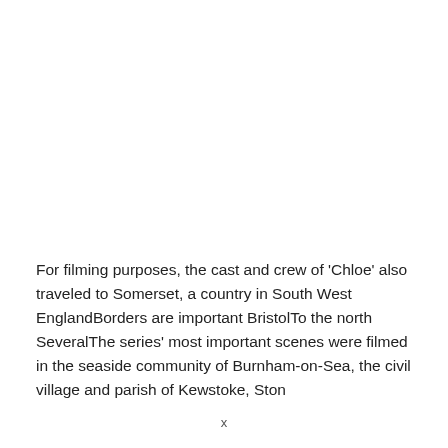For filming purposes, the cast and crew of 'Chloe' also traveled to Somerset, a country in South West EnglandBorders are important BristolTo the north SeveralThe series' most important scenes were filmed in the seaside community of Burnham-on-Sea, the civil village and parish of Kewstoke, Ston
x